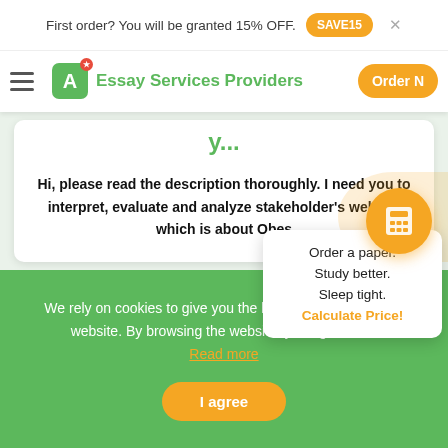First order? You will be granted 15% OFF. SAVE15 ×
≡ A Essay Services Providers Order N
y...
Hi, please read the description thoroughly. I need you to interpret, evaluate and analyze stakeholder's website which is about Obes
Order a paper. Study better. Sleep tight. Calculate Price!
We rely on cookies to give you the best experience on our website. By browsing the website, you agree to it. Read more
I agree